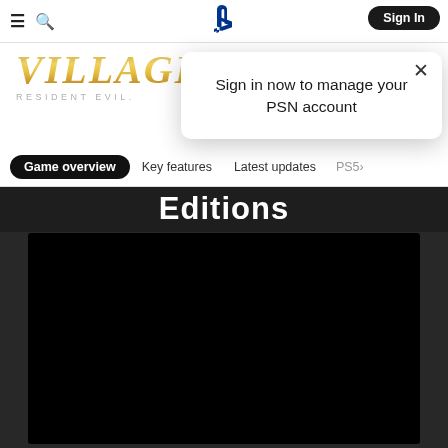≡ 🔍 [PlayStation logo] Sign In
[Figure (logo): VILLAGE RESIDENT EVIL game logo with gold metallic text]
Sign in now to manage your PSN account
Game overview  Key features  Latest updates  PS5
Editions
[Figure (screenshot): Black video/media player area]